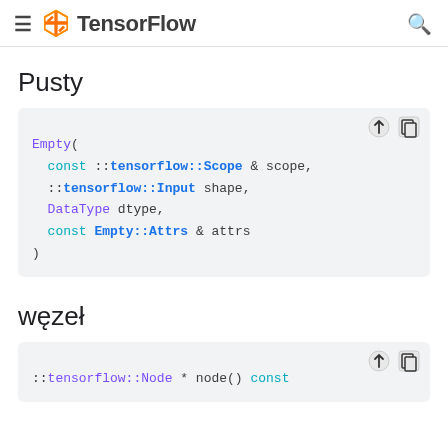TensorFlow
Pusty
Empty(
  const ::tensorflow::Scope & scope,
  ::tensorflow::Input shape,
  DataType dtype,
  const Empty::Attrs & attrs
)
węzeł
::tensorflow::Node * node() const